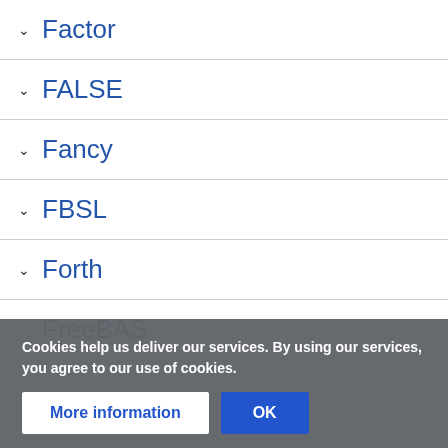Factor
FALSE
Fancy
FBSL
Forth
Cookies help us deliver our services. By using our services, you agree to our use of cookies.
FreeBAS…